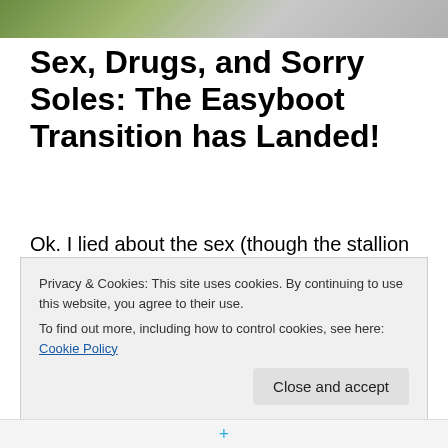[Figure (photo): Partial photo strip at top of page showing outdoor scene with green/grey tones, partially visible]
Sex, Drugs, and Sorry Soles: The Easyboot Transition has Landed!
Ok. I lied about the sex (though the stallion lives in hope) but we definitely have drugs (since this is what I do for a living, and of course the Cushings crocks are popping pink dried frog pills every day). The sorry soles, however, are worse than I thought.
Privacy & Cookies: This site uses cookies. By continuing to use this website, you agree to their use.
To find out more, including how to control cookies, see here: Cookie Policy